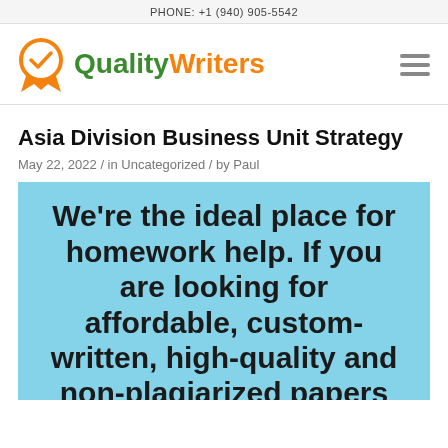PHONE: +1 (940) 905-5542
[Figure (logo): QualityWriters logo with orange badge/medal icon and green 'Quality' orange 'Writers' text, plus hamburger menu icon]
Asia Division Business Unit Strategy
May 22, 2022 / in Uncategorized / by Paul
[Figure (infographic): Light blue banner with bold black text: We're the ideal place for homework help. If you are looking for affordable, custom-written, high-quality and non-plagiarized papers]